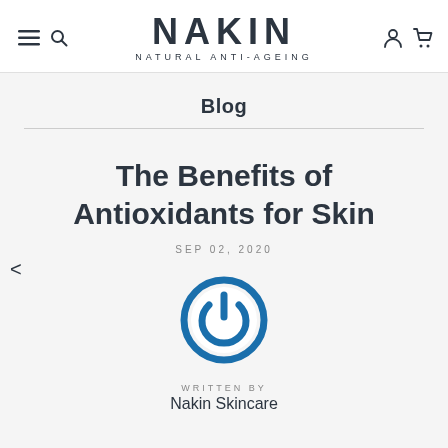NAKIN NATURAL ANTI-AGEING
Blog
The Benefits of Antioxidants for Skin
SEP 02, 2020
[Figure (logo): Nakin brand logo: circular power button icon in blue and white]
WRITTEN BY
Nakin Skincare